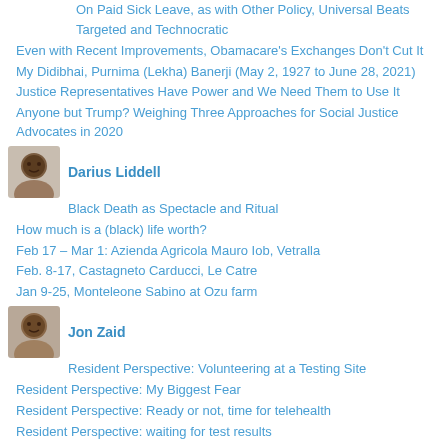On Paid Sick Leave, as with Other Policy, Universal Beats Targeted and Technocratic
Even with Recent Improvements, Obamacare's Exchanges Don't Cut It
My Didibhai, Purnima (Lekha) Banerji (May 2, 1927 to June 28, 2021)
Justice Representatives Have Power and We Need Them to Use It
Anyone but Trump? Weighing Three Approaches for Social Justice Advocates in 2020
Darius Liddell
Black Death as Spectacle and Ritual
How much is a (black) life worth?
Feb 17 – Mar 1: Azienda Agricola Mauro Iob, Vetralla
Feb. 8-17, Castagneto Carducci, Le Catre
Jan 9-25, Monteleone Sabino at Ozu farm
Jon Zaid
Resident Perspective: Volunteering at a Testing Site
Resident Perspective: My Biggest Fear
Resident Perspective: Ready or not, time for telehealth
Resident Perspective: waiting for test results